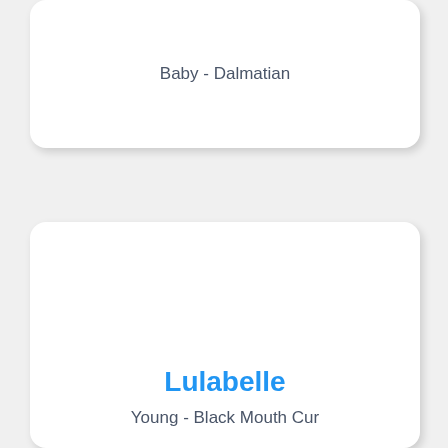Baby - Dalmatian
Lulabelle
Young - Black Mouth Cur